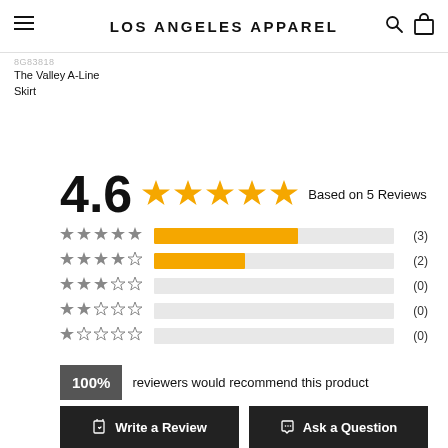LOS ANGELES APPAREL
8G83818
The Valley A-Line Skirt
4.6  ★★★★★  Based on 5 Reviews
[Figure (bar-chart): Rating breakdown]
100% reviewers would recommend this product
Write a Review
Ask a Question